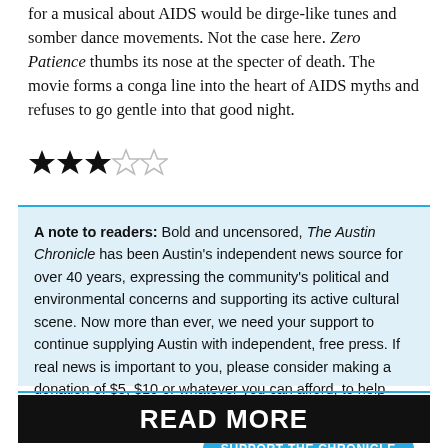for a musical about AIDS would be dirge-like tunes and somber dance movements. Not the case here. Zero Patience thumbs its nose at the specter of death. The movie forms a conga line into the heart of AIDS myths and refuses to go gentle into that good night.
[Figure (other): Three filled stars and two empty stars (3 out of 5 star rating)]
A note to readers: Bold and uncensored, The Austin Chronicle has been Austin's independent news source for over 40 years, expressing the community's political and environmental concerns and supporting its active cultural scene. Now more than ever, we need your support to continue supplying Austin with independent, free press. If real news is important to you, please consider making a donation of $5, $10 or whatever you can afford, to help keep our journalism on stands.
SUPPORT THE CHRONICLE
READ MORE